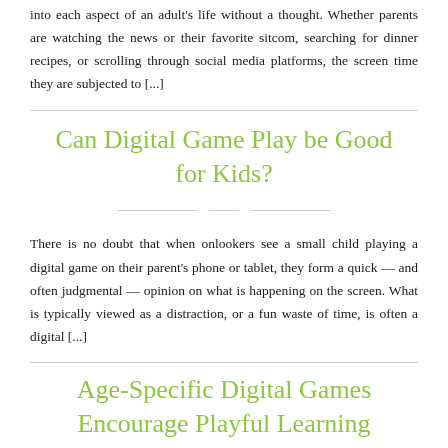into each aspect of an adult's life without a thought. Whether parents are watching the news or their favorite sitcom, searching for dinner recipes, or scrolling through social media platforms, the screen time they are subjected to [...]
Can Digital Game Play be Good for Kids?
There is no doubt that when onlookers see a small child playing a digital game on their parent's phone or tablet, they form a quick — and often judgmental — opinion on what is happening on the screen. What is typically viewed as a distraction, or a fun waste of time, is often a digital [...]
Age-Specific Digital Games Encourage Playful Learning